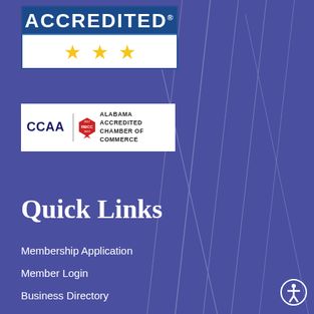[Figure (logo): Accredited badge with dark blue banner showing ACCREDITED text and three gold stars below]
[Figure (logo): CCAA Alabama Accredited Chamber of Commerce badge with ribbon logo]
Quick Links
Membership Application
Member Login
Business Directory
Event Calendar
Meet the Staff